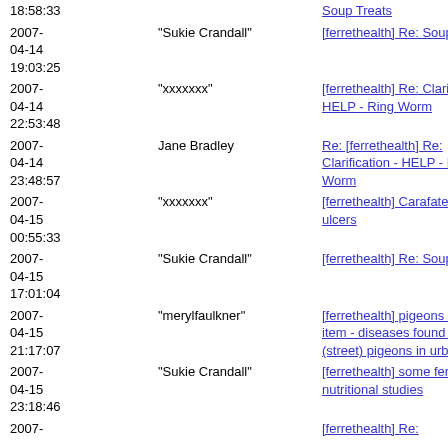18:58:33 | | [ferrethealth] Re: Soup Treats | FHL
2007-04-14 19:03:25 | "Sukie Crandall" | [ferrethealth] Re: Soup Treats | FHL
2007-04-14 22:53:48 | "xxxxxxx" | [ferrethealth] Re: Clarification - HELP - Ring Worm | FHL
2007-04-14 23:48:57 | Jane Bradley | Re: [ferrethealth] Re: Clarification - HELP - Ring Worm | FHL
2007-04-15 00:55:33 | "xxxxxxx" | [ferrethealth] Carafate and ulcers | FHL
2007-04-15 17:01:04 | "Sukie Crandall" | [ferrethealth] Re: Soup Treats | FHL
2007-04-15 21:17:07 | "merylfaulkner" | [ferrethealth] pigeons as a food item - diseases found in feral (street) pigeons in urban areas | FHL
2007-04-15 23:18:46 | "Sukie Crandall" | [ferrethealth] some ferret nutritional studies | FHL
2007-04- | | [ferrethealth] Re: |